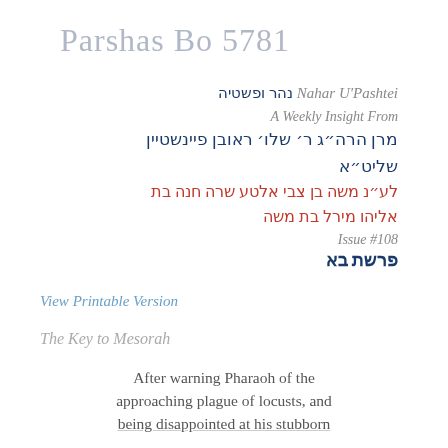Parshas Bo 5781
נהר ופשטיה Nahar U'Pashtei
A Weekly Insight From
מרן הרה״ג ר׳ שלו׳ ראובן פיינשטיין שליט״א
לע״נ משה בן צבי אלטע שרה חנה בת אליהו מירל בת משה
Issue #108
פרשת בא
View Printable Version
The Key to Mesorah
After warning Pharaoh of the approaching plague of locusts, and being disappointed at his stubborn